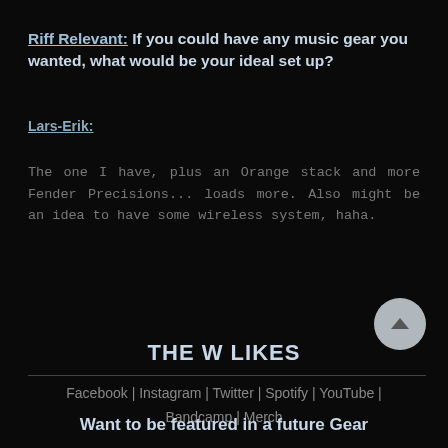Riff Relevant: If you could have any music gear you wanted, what would be your ideal set up?
Lars-Erik:
The one I have, plus an Orange stack and more Fender Precisions... loads more. Also might be an idea to have some wireless system, haha.
THE W LIKES
Facebook | Instagram | Twitter | Spotify | YouTube | Bandcamp | Merch
Want to be featured in a future Gear